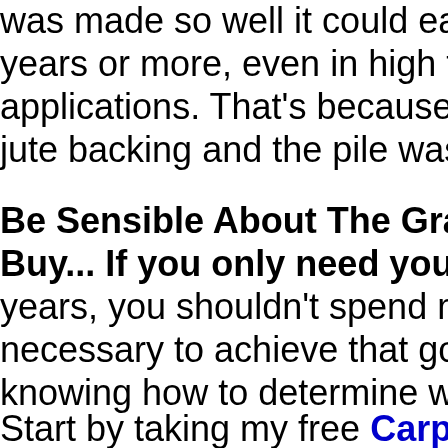was made so well it could easily last a 20 years or more, even in high traffic applications. That's because it had a dura jute backing and the pile was made of nyl
Be Sensible About The Grade of Carpe Buy...
If you only need your carpet to last years, you shouldn't spend more any than necessary to achieve that goal. The trick i knowing how to determine which grade of carpet can do the best job for you at the lo possible cost.
Start by taking my free Carpet Foot Traff